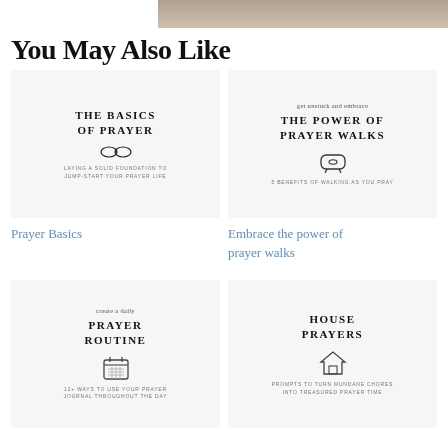[Figure (photo): Partial photo of a person at top of page]
You May Also Like
[Figure (illustration): Book cover card: THE BASICS OF PRAYER - LAYING A SOLID FOUNDATION TO JUMP-START YOUR PRAYER LIFE, with glasses icon]
[Figure (illustration): Book cover card: get unstuck and embrace THE POWER OF PRAYER WALKS - 5 BENEFITS OF WALKING AS YOU PRAY, with heart-phone icon]
Prayer Basics
Embrace the power of prayer walks
[Figure (illustration): Book cover card: create a daily PRAYER ROUTINE - 12+ WAYS TO USE YOUR PRAYER JOURNAL THROUGHOUT THE DAY, with calendar icon]
[Figure (illustration): Book cover card: HOUSE PRAYERS - PROMPTS TO TURN MUNDANE CHORES INTO TREASURED PRAYER TIME, with house icon]